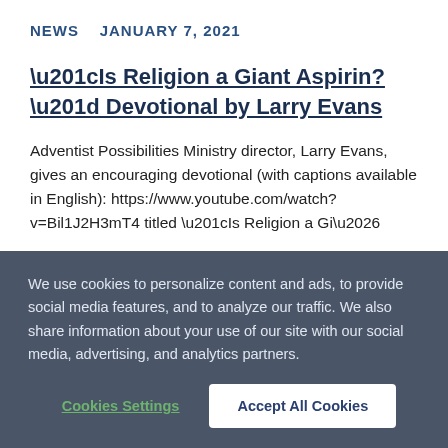NEWS   JANUARY 7, 2021
“Is Religion a Giant Aspirin?” Devotional by Larry Evans
Adventist Possibilities Ministry director, Larry Evans, gives an encouraging devotional (with captions available in English): https://www.youtube.com/watch?v=Bil1J2H3mT4 titled “Is Religion a Gi…
READ MORE →
We use cookies to personalize content and ads, to provide social media features, and to analyze our traffic. We also share information about your use of our site with our social media, advertising, and analytics partners.
Cookies Settings
Accept All Cookies